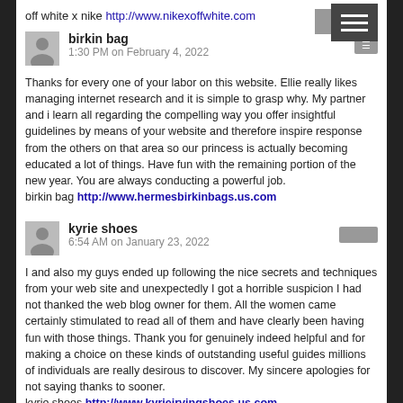off white x nike http://www.nikexoffwhite.com
birkin bag
1:30 PM on February 4, 2022
Thanks for every one of your labor on this website. Ellie really likes managing internet research and it is simple to grasp why. My partner and i learn all regarding the compelling way you offer insightful guidelines by means of your website and therefore inspire response from the others on that area so our princess is actually becoming educated a lot of things. Have fun with the remaining portion of the new year. You are always conducting a powerful job.
birkin bag http://www.hermesbirkinbags.us.com
kyrie shoes
6:54 AM on January 23, 2022
I and also my guys ended up following the nice secrets and techniques from your web site and unexpectedly I got a horrible suspicion I had not thanked the web blog owner for them. All the women came certainly stimulated to read all of them and have clearly been having fun with those things. Thank you for genuinely indeed helpful and for making a choice on these kinds of outstanding useful guides millions of individuals are really desirous to discover. My sincere apologies for not saying thanks to sooner.
kyrie shoes http://www.kyrieirvingshoes.us.com